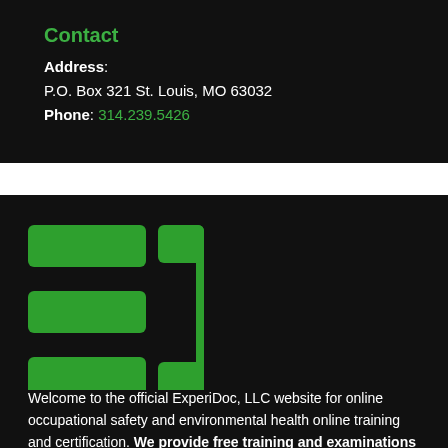Contact
Address: P.O. Box 321 St. Louis, MO 63032
Phone: 314.239.5426
[Figure (logo): ExperiDoc LLC logo — green rectangular shapes forming a stylized bracket and list icon on black background]
Welcome to the official ExperiDoc, LLC website for online occupational safety and environmental health online training and certification. We provide free training and examinations to our clients!